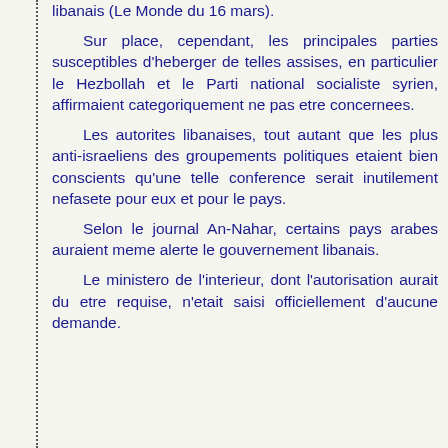libanais (Le Monde du 16 mars).
Sur place, cependant, les principales parties susceptibles d'heberger de telles assises, en particulier le Hezbollah et le Parti national socialiste syrien, affirmaient categoriquement ne pas etre concernees.
Les autorites libanaises, tout autant que les plus anti-israeliens des groupements politiques etaient bien conscients qu'une telle conference serait inutilement nefasete pour eux et pour le pays.
Selon le journal An-Nahar, certains pays arabes auraient meme alerte le gouvernement libanais.
Le ministero de l'interieur, dont l'autorisation aurait du etre requise, n'etait saisi officiellement d'aucune demande.